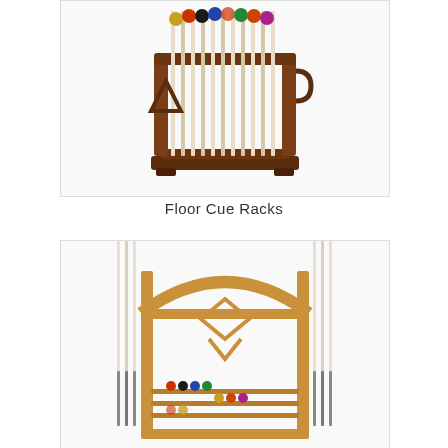[Figure (photo): A floor cue rack made of dark mahogany wood holding multiple billiard cues vertically, with billiard balls displayed at the top]
Floor Cue Racks
[Figure (photo): A wall-mounted cue rack made of light oak wood with an arched decorative frame, holding multiple billiard cues, with ball storage shelves at the bottom]